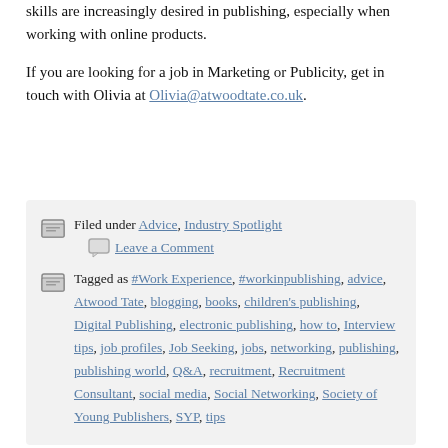skills are increasingly desired in publishing, especially when working with online products.
If you are looking for a job in Marketing or Publicity, get in touch with Olivia at Olivia@atwoodtate.co.uk.
Filed under Advice, Industry Spotlight   Leave a Comment
Tagged as #Work Experience, #workinpublishing, advice, Atwood Tate, blogging, books, children's publishing, Digital Publishing, electronic publishing, how to, Interview tips, job profiles, Job Seeking, jobs, networking, publishing, publishing world, Q&A, recruitment, Recruitment Consultant, social media, Social Networking, Society of Young Publishers, SYP, tips